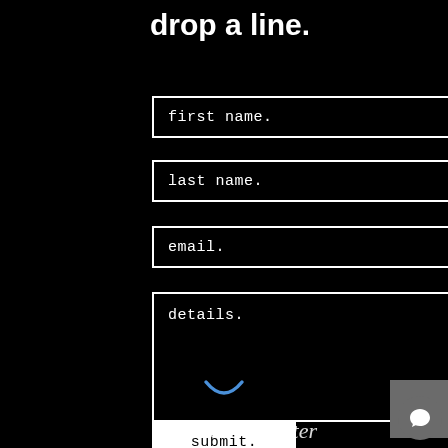drop a line.
first name.
last name.
email.
details.
[Figure (illustration): Blue smile/arc icon below the details textarea, used as a decorative loading or smile indicator]
submit.
[Figure (illustration): Script/cursive signature watermark text at the bottom of the page]
[Figure (illustration): Grey scroll-to-top button with upward arrow in bottom right area]
[Figure (illustration): Grey circular chat button with speech bubble icon in bottom right corner]